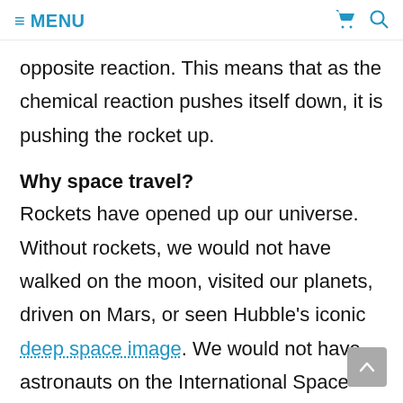≡ MENU
opposite reaction. This means that as the chemical reaction pushes itself down, it is pushing the rocket up.
Why space travel?
Rockets have opened up our universe. Without rockets, we would not have walked on the moon, visited our planets, driven on Mars, or seen Hubble's iconic deep space image. We would not have astronauts on the International Space Station because there would be no